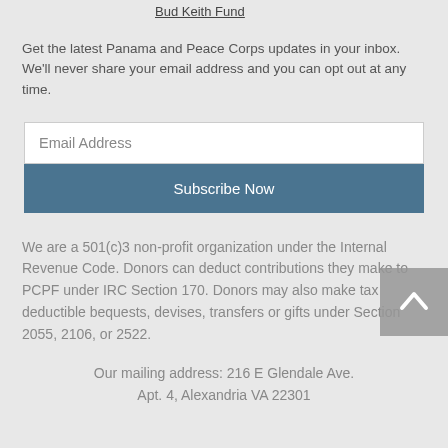Bud Keith Fund
Get the latest Panama and Peace Corps updates in your inbox. We'll never share your email address and you can opt out at any time.
Email Address
Subscribe Now
We are a 501(c)3 non-profit organization under the Internal Revenue Code. Donors can deduct contributions they make to PCPF under IRC Section 170. Donors may also make tax deductible bequests, devises, transfers or gifts under Section 2055, 2106, or 2522.
Our mailing address: 216 E Glendale Ave. Apt. 4, Alexandria VA 22301